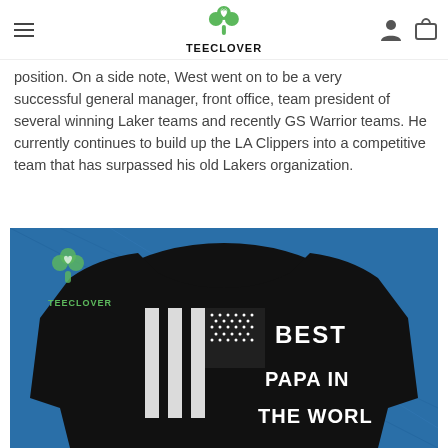TEECLOVER
position. On a side note, West went on to be a very successful general manager, front office, team president of several winning Laker teams and recently GS Warrior teams. He currently continues to build up the LA Clippers into a competitive team that has surpassed his old Lakers organization.
[Figure (photo): Black sweatshirt with American flag graphic and text 'BEST PAPA IN THE WORLD' on blue textured background, with TEECLOVER watermark logo]